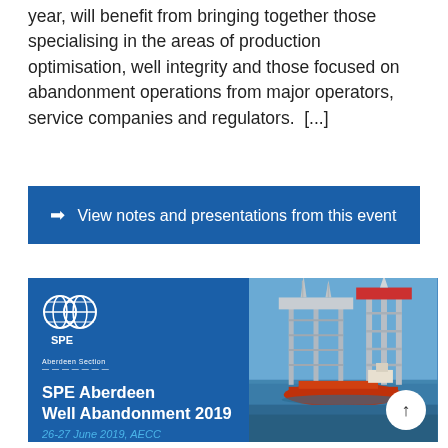year, will benefit from bringing together those specialising in the areas of production optimisation, well integrity and those focused on abandonment operations from major operators, service companies and regulators.   [...]
➡ View notes and presentations from this event
[Figure (infographic): SPE Aberdeen Well Abandonment 2019 advertisement banner. Left side shows SPE logo with Aberdeen Section text, event title 'SPE Aberdeen Well Abandonment 2019', date '26-27 June 2019, AECC', blue banner reading 'TECHNICAL PROGRAMME NOW LIVE!' and footer text about event info with click here link. Right side shows photo of offshore oil drilling rig with a support vessel in the sea.]